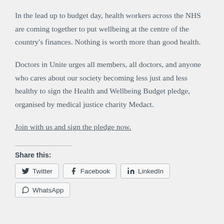In the lead up to budget day, health workers across the NHS are coming together to put wellbeing at the centre of the country's finances. Nothing is worth more than good health.
Doctors in Unite urges all members, all doctors, and anyone who cares about our society becoming less just and less healthy to sign the Health and Wellbeing Budget pledge, organised by medical justice charity Medact.
Join with us and sign the pledge now.
Share this:
Twitter | Facebook | LinkedIn | WhatsApp